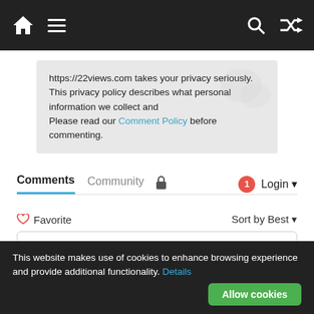Navigation bar with home, menu, search, and shuffle icons
https://22views.com takes your privacy seriously. This privacy policy describes what personal information we collect and
Please read our Comment Policy before commenting.
Comments   Community   🔒   1   Login ▾
♡ Favorite   Sort by Best ▾
Start the discussion…
LOG IN WITH
[Figure (screenshot): Social login icons: Disqus (D), Facebook (f), Twitter bird, Google (G)]
This website makes use of cookies to enhance browsing experience and provide additional functionality. Details
Allow cookies